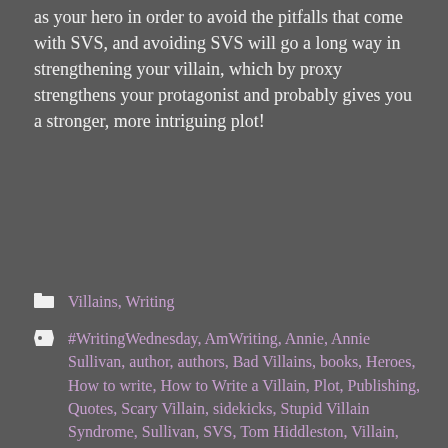as your hero in order to avoid the pitfalls that come with SVS, and avoiding SVS will go a long way in strengthening your villain, which by proxy strengthens your protagonist and probably gives you a stronger, more intriguing plot!
Villains, Writing
#WritingWednesday, AmWriting, Annie, Annie Sullivan, author, authors, Bad Villains, books, Heroes, How to write, How to Write a Villain, Plot, Publishing, Quotes, Scary Villain, sidekicks, Stupid Villain Syndrome, Sullivan, SVS, Tom Hiddleston, Villain, Villains, writer, Writer's Life, Writing, Writing Tips, Writing Wednesday, YA, YA Fantasy, Young Adult